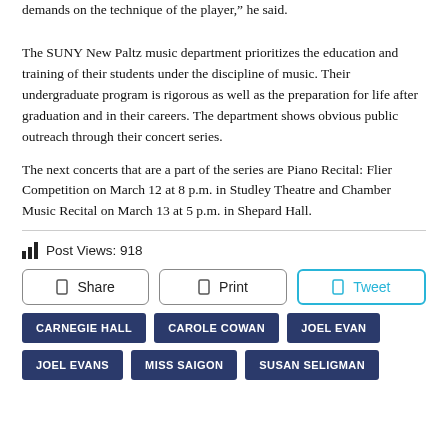demands on the technique of the player," he said.
The SUNY New Paltz music department prioritizes the education and training of their students under the discipline of music. Their undergraduate program is rigorous as well as the preparation for life after graduation and in their careers. The department shows obvious public outreach through their concert series.
The next concerts that are a part of the series are Piano Recital: Flier Competition on March 12 at 8 p.m. in Studley Theatre and Chamber Music Recital on March 13 at 5 p.m. in Shepard Hall.
Post Views: 918
[Figure (other): Share, Print, and Tweet buttons row]
CARNEGIE HALL | CAROLE COWAN | JOEL EVAN | JOEL EVANS | MISS SAIGON | SUSAN SELIGMAN